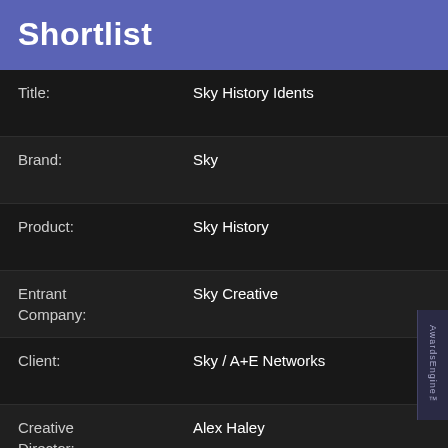Shortlist
| Field | Value |
| --- | --- |
| Title: | Sky History Idents |
| Brand: | Sky |
| Product: | Sky History |
| Entrant Company: | Sky Creative |
| Client: | Sky / A+E Networks |
| Creative Director: | Alex Haley |
| Designer: | Blake Calderwood |
| Account Director: | Sara Burton, Jennifer Guiver |
| Production Company: | Sky Creative |